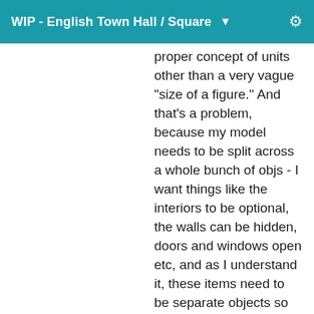WIP - English Town Hall / Square
proper concept of units other than a very vague "size of a figure." And that's a problem, because my model needs to be split across a whole bunch of objs - I want things like the interiors to be optional, the walls can be hidden, doors and windows open etc, and as I understand it, these items need to be separate objects so they get listed in Poser's object hierarchy. Without a common point of reference, I haven't been able to import them into Poser and have them scale correctly against